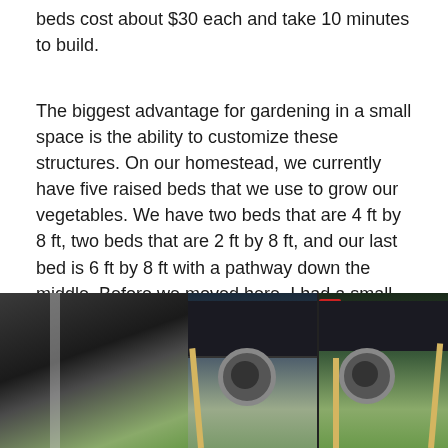beds cost about $30 each and take 10 minutes to build.
The biggest advantage for gardening in a small space is the ability to customize these structures. On our homestead, we currently have five raised beds that we use to grow our vegetables. We have two beds that are 4 ft by 8 ft, two beds that are 2 ft by 8 ft, and our last bed is 6 ft by 8 ft with a pathway down the middle. Before we moved here, I had a small raised bed (about 5 sq. ft of growing space) in our 15th floor apartment. With a little creativity, you can use this gardening method anywhere!
[Figure (photo): Left photo showing indoor shelving or furniture in a dark interior setting with greenery visible.]
[Figure (photo): Two outdoor photos side by side showing raised garden bed frames made of wood/stakes with a dark vehicle parked nearby.]